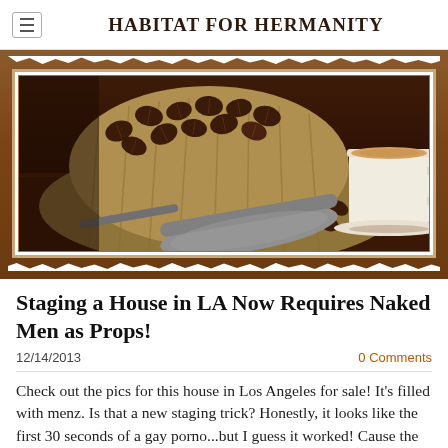HABITAT FOR HERMANITY
[Figure (photo): A burlap sack of coffee beans spilling out, with a metal scoop and a white cup of coffee in the background on a dark wooden surface.]
Staging a House in LA Now Requires Naked Men as Props!
12/14/2013   0 Comments
Check out the pics for this house in Los Angeles for sale! It's filled with menz. Is that a new staging trick? Honestly, it looks like the first 30 seconds of a gay porno...but I guess it worked! Cause the same day it was listed for $1,795,000, it